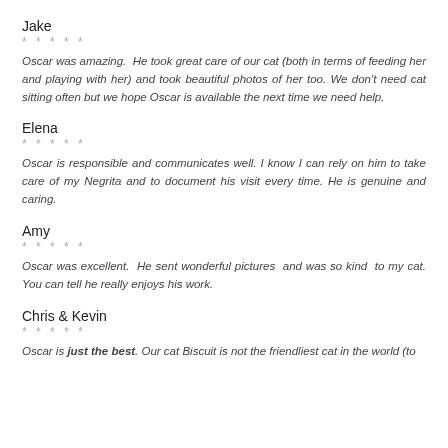Jake
* * * * *
Oscar was amazing. He took great care of our cat (both in terms of feeding her and playing with her) and took beautiful photos of her too. We don't need cat sitting often but we hope Oscar is available the next time we need help.
Elena
* * * * *
Oscar is responsible and communicates well. I know I can rely on him to take care of my Negrita and to document his visit every time. He is genuine and caring.
Amy
* * * * *
Oscar was excellent. He sent wonderful pictures and was so kind to my cat. You can tell he really enjoys his work.
Chris & Kevin
* * * * *
Oscar is just the best. Our cat Biscuit is not the friendliest cat in the world (to